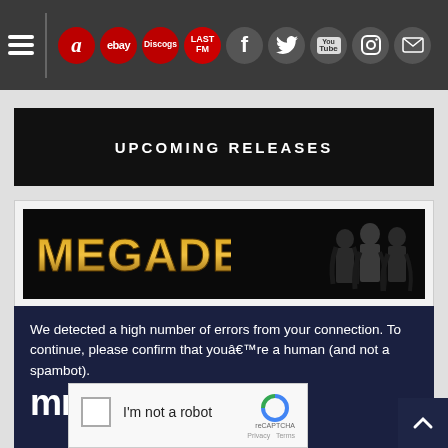[Figure (screenshot): Navigation bar with hamburger menu, social media icons (Amazon, eBay, Discogs, Last.fm, Facebook, Twitter, YouTube, Instagram, Email)]
UPCOMING RELEASES
[Figure (photo): Megadeth band banner with logo and band members photo]
We detected a high number of errors from your connection. To continue, please confirm that youâ€™re a human (and not a spambot).
[Figure (screenshot): reCAPTCHA widget with checkbox and 'I'm not a robot' label]